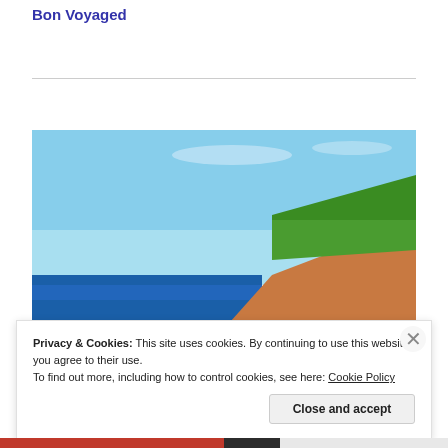Bon Voyaged
[Figure (photo): Coastal landscape showing blue ocean water on the left, red sandy cliffs with green grass on the right, under a bright blue sky. A sandy path leads toward the sea.]
Privacy & Cookies: This site uses cookies. By continuing to use this website, you agree to their use.
To find out more, including how to control cookies, see here: Cookie Policy
Close and accept